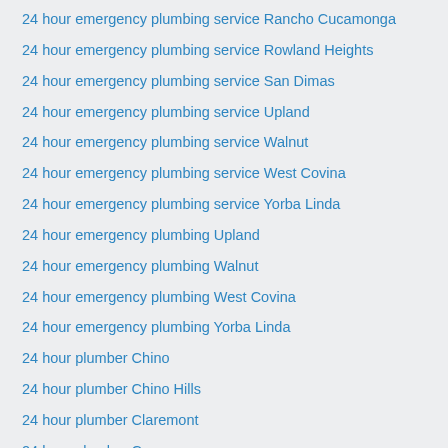24 hour emergency plumbing service Rancho Cucamonga
24 hour emergency plumbing service Rowland Heights
24 hour emergency plumbing service San Dimas
24 hour emergency plumbing service Upland
24 hour emergency plumbing service Walnut
24 hour emergency plumbing service West Covina
24 hour emergency plumbing service Yorba Linda
24 hour emergency plumbing Upland
24 hour emergency plumbing Walnut
24 hour emergency plumbing West Covina
24 hour emergency plumbing Yorba Linda
24 hour plumber Chino
24 hour plumber Chino Hills
24 hour plumber Claremont
24 hour plumber Corona